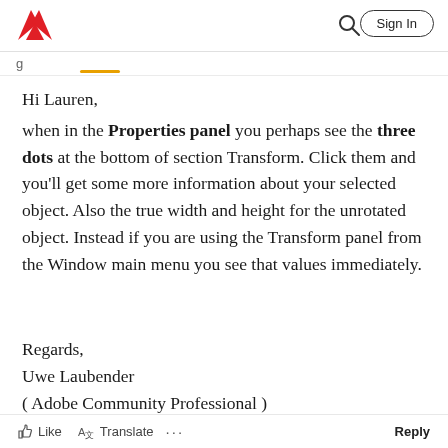Adobe | Sign In
Hi Lauren,
when in the Properties panel you perhaps see the three dots at the bottom of section Transform. Click them and you'll get some more information about your selected object. Also the true width and height for the unrotated object. Instead if you are using the Transform panel from the Window main menu you see that values immediately.
Regards,
Uwe Laubender
( Adobe Community Professional )
Like   Translate   ...   Reply